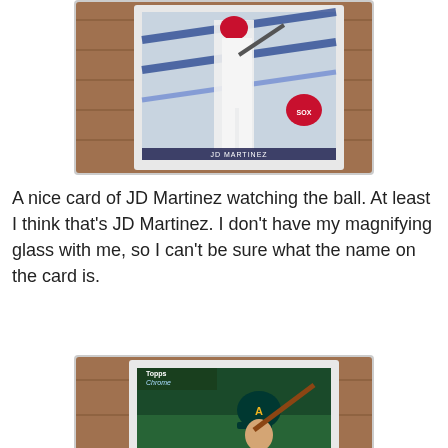[Figure (photo): Baseball card of JD Martinez (Boston Red Sox) showing player in batting stance with diagonal blue stripes design, Red Sox logo visible, placed on wooden surface]
A nice card of JD Martinez watching the ball. At least I think that's JD Martinez. I don't have my magnifying glass with me, so I can't be sure what the name on the card is.
[Figure (photo): Topps Chrome baseball card showing Oakland Athletics player in green helmet holding bat, card placed on wooden surface]